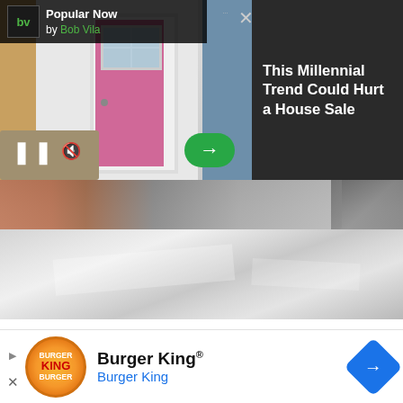[Figure (screenshot): Video player overlay showing a house with pink front door on the left, dark panel on the right with headline text 'This Millennial Trend Could Hurt a House Sale', BV (Bob Vila) Popular Now logo bar at top left, close X button, pause and mute controls at bottom left, green arrow button]
This Millennial Trend Could Hurt a House Sale
[Figure (photo): Close-up photo of hands laying flooring material - shiny metallic/silver flexible sheet being installed on a concrete floor, with a boot/shoe visible at the right edge]
Basements are naturally moist and poorly ventilated, and that means basement renovations require some
[Figure (other): Burger King advertisement banner with orange BK logo, 'Burger King®' text in bold, 'Burger King' subtitle in blue, blue diamond navigation icon on the right, play and close buttons]